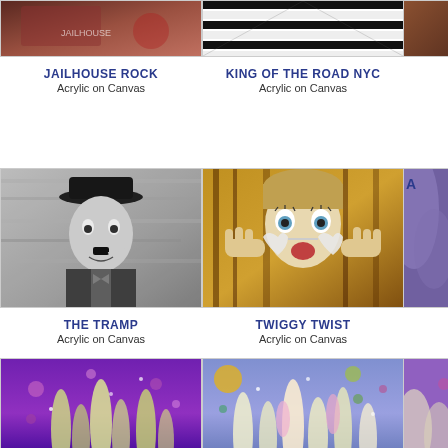[Figure (illustration): Cropped top of Jailhouse Rock artwork - acrylic painting]
JAILHOUSE ROCK
Acrylic on Canvas
[Figure (illustration): Cropped top of King of the Road NYC artwork - black and white acrylic painting]
KING OF THE ROAD NYC
Acrylic on Canvas
[Figure (illustration): Partial right edge of third artwork in top row]
[Figure (illustration): The Tramp - Charlie Chaplin portrait, acrylic on canvas, black and white]
THE TRAMP
Acrylic on Canvas
[Figure (illustration): Twiggy Twist - portrait of Twiggy with heart-shaped sunglasses on amber/golden background]
TWIGGY TWIST
Acrylic on Canvas
[Figure (illustration): Partial right edge labeled A - purple/floral artwork]
[Figure (illustration): Floral artwork on purple background with lupins and floating circles]
[Figure (illustration): Floral artwork on blue/lavender background with lupins and floating circles]
[Figure (illustration): Partial right edge of third artwork in bottom row - purple floral]